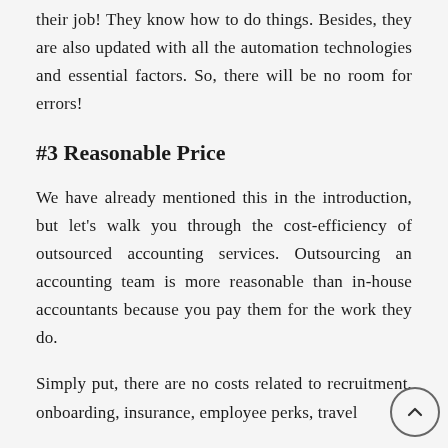their job! They know how to do things. Besides, they are also updated with all the automation technologies and essential factors. So, there will be no room for errors!
#3 Reasonable Price
We have already mentioned this in the introduction, but let’s walk you through the cost-efficiency of outsourced accounting services. Outsourcing an accounting team is more reasonable than in-house accountants because you pay them for the work they do.
Simply put, there are no costs related to recruitment, onboarding, insurance, employee perks, travel